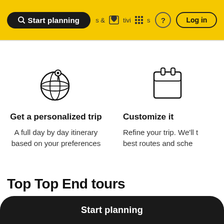Start planning   & Activities   ?   Log in
[Figure (illustration): Globe with a map pin icon — represents personalized trip planning]
Get a personalized trip
A full day by day itinerary based on your preferences
[Figure (illustration): Calendar/clipboard icon — represents customizing trip itinerary]
Customize it
Refine your trip. We'll t... best routes and sche...
Top Top End tours
Start planning